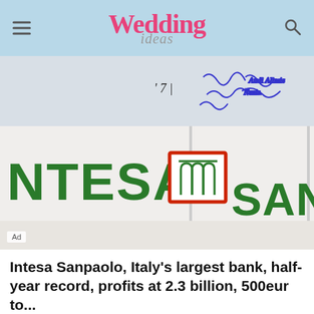Wedding ideas
[Figure (photo): Photo of Intesa Sanpaolo bank branch exterior sign showing the green text NTESA and SANPAOLO with the red-bordered logo in between, with handwritten annotations visible at the top of the image and an Ad label in the bottom-left corner.]
Intesa Sanpaolo, Italy’s largest bank, half-year record, profits at 2.3 billion, 500eur to...
World Medias